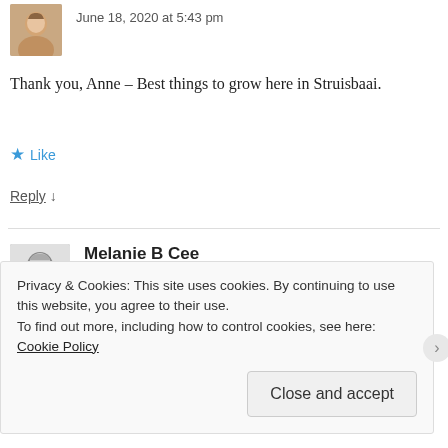[Figure (photo): Small avatar photo of a woman, top-left corner]
June 18, 2020 at 5:43 pm
Thank you, Anne – Best things to grow here in Struisbaai.
★ Like
Reply ↓
[Figure (photo): Grayscale avatar photo of an elderly woman with glasses]
Melanie B Cee
June 18, 2020 at 8:20 pm
Privacy & Cookies: This site uses cookies. By continuing to use this website, you agree to their use.
To find out more, including how to control cookies, see here: Cookie Policy
Close and accept